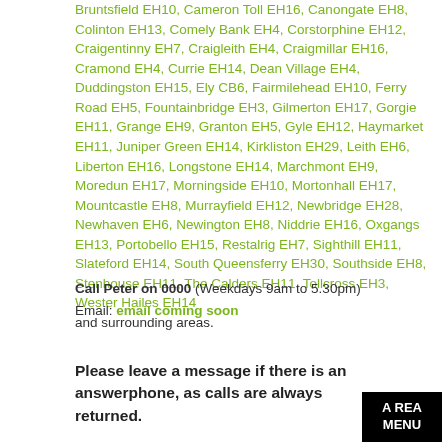Bruntsfield EH10, Cameron Toll EH16, Canongate EH8, Colinton EH13, Comely Bank EH4, Corstorphine EH12, Craigentinny EH7, Craigleith EH4, Craigmillar EH16, Cramond EH4, Currie EH14, Dean Village EH4, Duddingston EH15, Ely CB6, Fairmilehead EH10, Ferry Road EH5, Fountainbridge EH3, Gilmerton EH17, Gorgie EH11, Grange EH9, Granton EH5, Gyle EH12, Haymarket EH11, Juniper Green EH14, Kirkliston EH29, Leith EH6, Liberton EH16, Longstone EH14, Marchmont EH9, Moredun EH17, Morningside EH10, Mortonhall EH17, Mountcastle EH8, Murrayfield EH12, Newbridge EH28, Newhaven EH6, Newington EH8, Niddrie EH16, Oxgangs EH13, Portobello EH15, Restalrig EH7, Sighthill EH11, Slateford EH14, South Queensferry EH30, Southside EH8, Stenhouse EH11, The Calders EH11, Tollcross EH3, Wester Hailes EH14 and surrounding areas.
Call Peter on 0000 (Weekdays 9am to 5.30pm)
Email: email coming soon
Please leave a message if there is an answerphone, as calls are always returned.